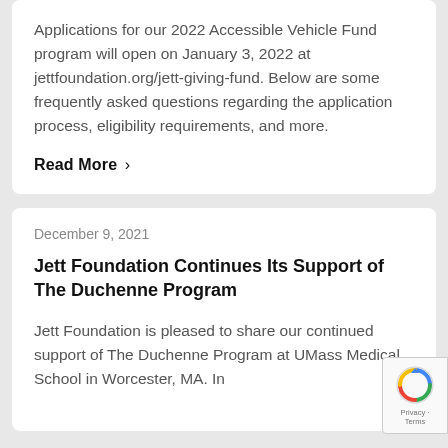Applications for our 2022 Accessible Vehicle Fund program will open on January 3, 2022 at jettfoundation.org/jett-giving-fund. Below are some frequently asked questions regarding the application process, eligibility requirements, and more.
Read More >
December 9, 2021
Jett Foundation Continues Its Support of The Duchenne Program
Jett Foundation is pleased to share our continued support of The Duchenne Program at UMass Medical School in Worcester, MA. In partnership with Charlene...